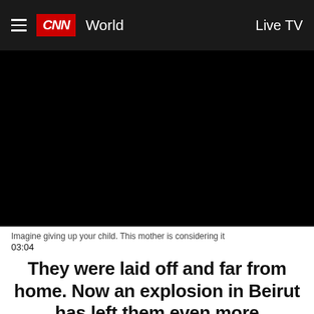CNN World  Live TV
[Figure (screenshot): Black video player area showing a CNN video embed]
Imagine giving up your child. This mother is considering it
03:04
They were laid off and far from home. Now an explosion in Beirut has left them even more vulnerable